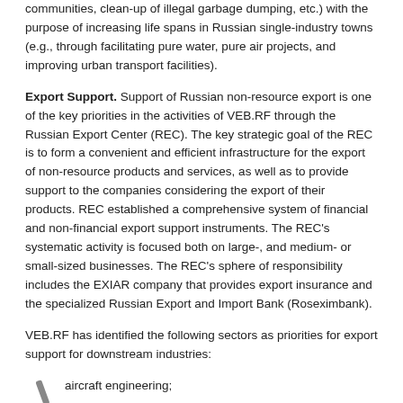communities, clean-up of illegal garbage dumping, etc.) with the purpose of increasing life spans in Russian single-industry towns (e.g., through facilitating pure water, pure air projects, and improving urban transport facilities).
Export Support. Support of Russian non-resource export is one of the key priorities in the activities of VEB.RF through the Russian Export Center (REC). The key strategic goal of the REC is to form a convenient and efficient infrastructure for the export of non-resource products and services, as well as to provide support to the companies considering the export of their products. REC established a comprehensive system of financial and non-financial export support instruments. The REC's systematic activity is focused both on large-, and medium- or small-sized businesses. The REC's sphere of responsibility includes the EXIAR company that provides export insurance and the specialized Russian Export and Import Bank (Roseximbank).
VEB.RF has identified the following sectors as priorities for export support for downstream industries:
aircraft engineering;
railway machinery;